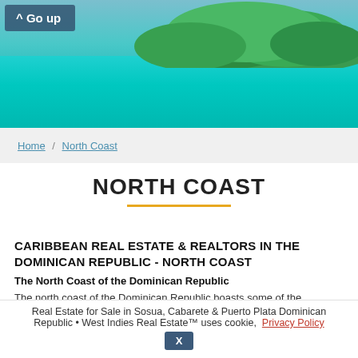[Figure (photo): Caribbean beach scene with turquoise water and green island/vegetation in the background]
^ Go up
Home / North Coast
NORTH COAST
CARIBBEAN REAL ESTATE & REALTORS IN THE DOMINICAN REPUBLIC - NORTH COAST
The North Coast of the Dominican Republic
The north coast of the Dominican Republic boasts some of the Real Estate for Sale in Sosua, Cabarete & Puerto Plata Dominican Republic • West Indies Real Estate™ uses cookie,  Privacy Policy